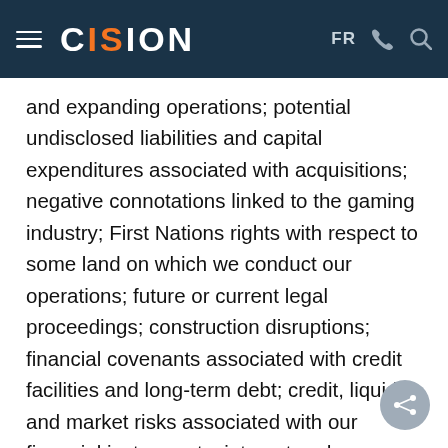CISION — FR
and expanding operations; potential undisclosed liabilities and capital expenditures associated with acquisitions; negative connotations linked to the gaming industry; First Nations rights with respect to some land on which we conduct our operations; future or current legal proceedings; construction disruptions; financial covenants associated with credit facilities and long-term debt; credit, liquidity and market risks associated with our financial instruments; interest and exchange rate fluctuations; non-realization of cost reductions and synergies; demand for new products and services; fluctuations in operating results; economic uncertainty and financial market volatility; technology dependence;